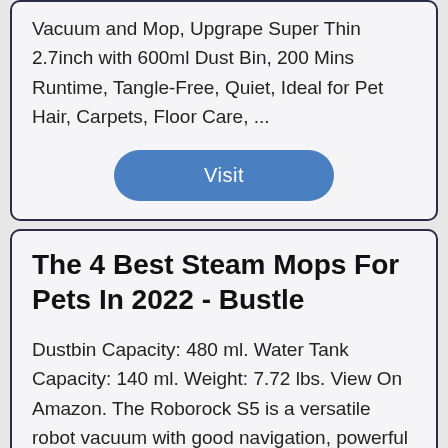Vacuum and Mop, Upgrape Super Thin 2.7inch with 600ml Dust Bin, 200 Mins Runtime, Tangle-Free, Quiet, Ideal for Pet Hair, Carpets, Floor Care, ...
Visit
The 4 Best Steam Mops For Pets In 2022 - Bustle
Dustbin Capacity: 480 ml. Water Tank Capacity: 140 ml. Weight: 7.72 lbs. View On Amazon. The Roborock S5 is a versatile robot vacuum with good navigation, powerful suction for long pet ...